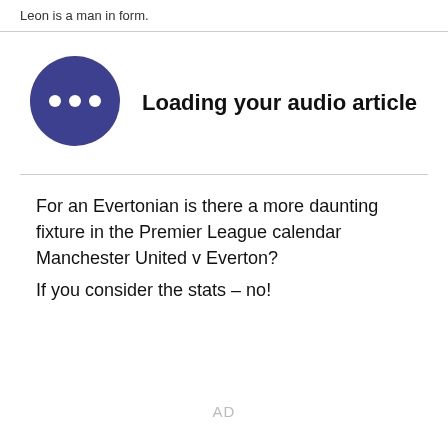Leon is a man in form.
[Figure (illustration): Dark blue circle with three white dots in the center representing an audio loading button, next to bold text 'Loading your audio article']
For an Evertonian is there a more daunting fixture in the Premier League calendar Manchester United v Everton?
If you consider the stats – no!
AD